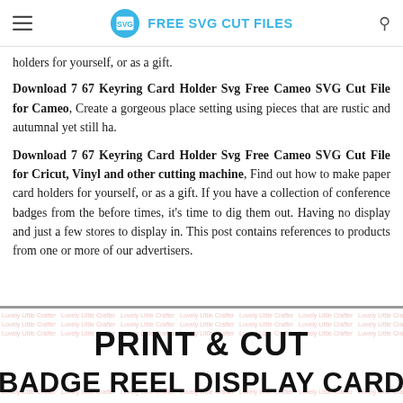FREE SVG CUT FILES
holders for yourself, or as a gift.
Download 7 67 Keyring Card Holder Svg Free Cameo SVG Cut File for Cameo, Create a gorgeous place setting using pieces that are rustic and autumnal yet still ha.
Download 7 67 Keyring Card Holder Svg Free Cameo SVG Cut File for Cricut, Vinyl and other cutting machine, Find out how to make paper card holders for yourself, or as a gift. If you have a collection of conference badges from the before times, it's time to dig them out. Having no display and just a few stores to display in. This post contains references to products from one or more of our advertisers.
[Figure (other): Print & Cut Badge Reel Display Card promotional image with repeated watermark text in background]